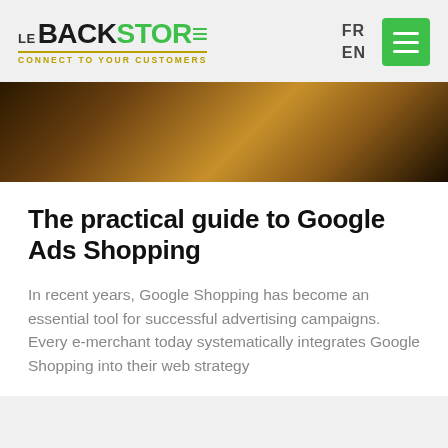LE BACKSTORE — CONNECT TO YOUR CUSTOMERS | FR | EN
[Figure (photo): Dark hero banner image with warm brown and golden tones, partially visible]
The practical guide to Google Ads Shopping
In recent years, Google Shopping has become an essential tool for successful advertising campaigns. Every e-merchant today systematically integrates Google Shopping into their web strategy